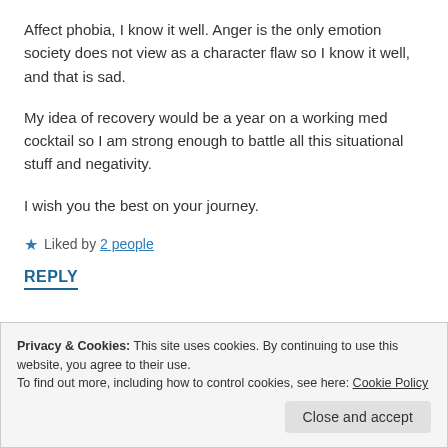Affect phobia, I know it well. Anger is the only emotion society does not view as a character flaw so I know it well, and that is sad.
My idea of recovery would be a year on a working med cocktail so I am strong enough to battle all this situational stuff and negativity.
I wish you the best on your journey.
★ Liked by 2 people
REPLY
Privacy & Cookies: This site uses cookies. By continuing to use this website, you agree to their use.
To find out more, including how to control cookies, see here: Cookie Policy
Close and accept